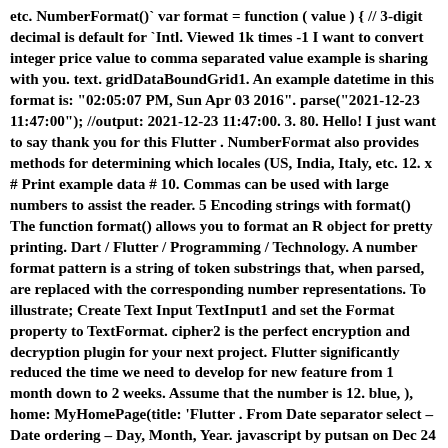etc. NumberFormat()` var format = function ( value ) { // 3-digit decimal is default for `Intl. Viewed 1k times -1 I want to convert integer price value to comma separated value example is sharing with you. text. gridDataBoundGrid1. An example datetime in this format is: "02:05:07 PM, Sun Apr 03 2016". parse("2021-12-23 11:47:00"); //output: 2021-12-23 11:47:00. 3. 80. Hello! I just want to say thank you for this Flutter . NumberFormat also provides methods for determining which locales (US, India, Italy, etc. 12. x # Print example data # 10. Commas can be used with large numbers to assist the reader. 5 Encoding strings with format() The function format() allows you to format an R object for pretty printing. Dart / Flutter / Programming / Technology. A number format pattern is a string of token substrings that, when parsed, are replaced with the corresponding number representations. To illustrate; Create Text Input TextInput1 and set the Format property to TextFormat. cipher2 is the perfect encryption and decryption plugin for your next project. Flutter significantly reduced the time we need to develop for new feature from 1 month down to 2 weeks. Assume that the number is 12. blue, ), home: MyHomePage(title: 'Flutter . From Date separator select – Date ordering – Day, Month, Year. javascript by putsan on Dec 24 2020 Comment . ERROR: require_trailing_commas. java string array; abstract class in java; java how to print an array; . QueryCellFormattedText event and format the display text